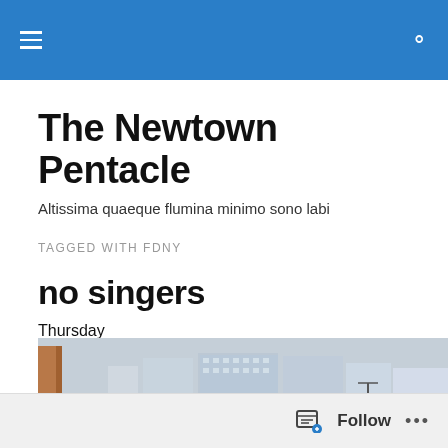The Newtown Pentacle [navigation bar with hamburger menu and search icon]
The Newtown Pentacle
Altissima quaeque flumina minimo sono labi
TAGGED WITH FDNY
no singers
Thursday
[Figure (photo): Panoramic photo of an urban skyline with buildings and bare winter trees, taken from across a body of water. A rusted industrial structure is visible on the left side.]
Follow ...